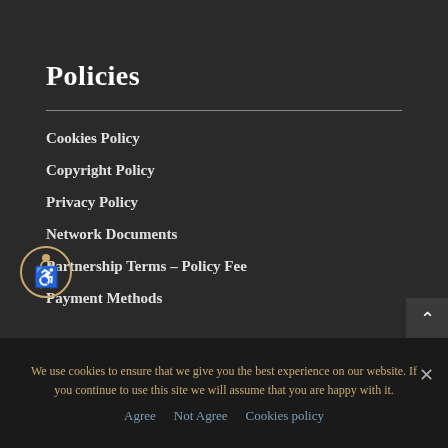Policies
Cookies Policy
Copyright Policy
Privacy Policy
Network Documents
Partnership Terms – Policy Fee
Payment Methods
We use cookies to ensure that we give you the best experience on our website. If you continue to use this site we will assume that you are happy with it.
Agree   Not Agree   Cookies policy